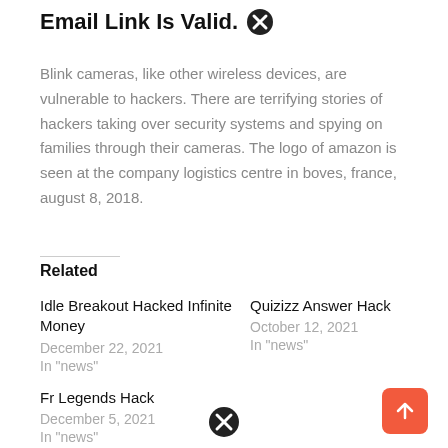Email Link Is Valid. ✕
Blink cameras, like other wireless devices, are vulnerable to hackers. There are terrifying stories of hackers taking over security systems and spying on families through their cameras. The logo of amazon is seen at the company logistics centre in boves, france, august 8, 2018.
Related
Idle Breakout Hacked Infinite Money
December 22, 2021
In "news"
Quizizz Answer Hack
October 12, 2021
In "news"
Fr Legends Hack
December 5, 2021
In "news"